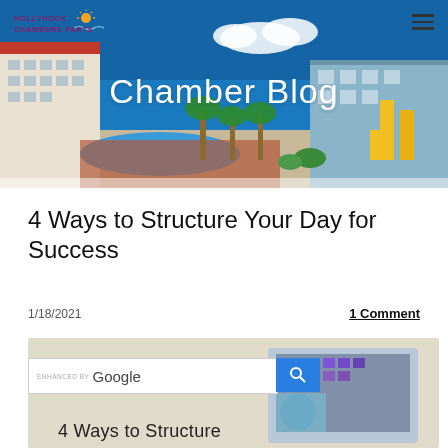[Figure (illustration): Chamber of Commerce banner illustration showing stylized cityscape with buildings, blue sky, palm trees, pool area, and yellow sculptures. Overlaid with 'Chamber Blog' title text.]
HOLLYHOCK CHAMBERS PARTS
Chamber Blog
4 Ways to Structure Your Day for Success
1/18/2021
1 Comment
[Figure (screenshot): Partial screenshot of an article image showing a laptop with '4 Ways to Structure' text visible, with an enhanced by Google search bar overlay at bottom.]